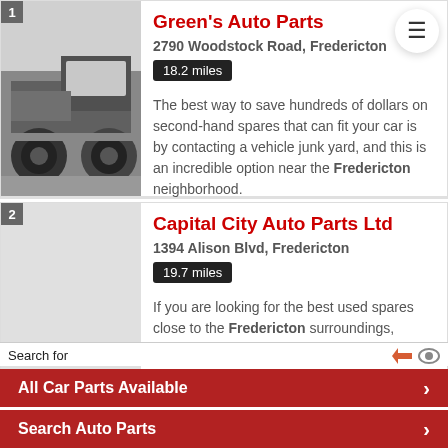[Figure (photo): Black and white photo of a vintage truck/vehicle, viewed from the side-front, showing the wheel and lower body]
Green's Auto Parts
2790 Woodstock Road, Fredericton
18.2 miles
The best way to save hundreds of dollars on second-hand spares that can fit your car is by contacting a vehicle junk yard, and this is an incredible option near the Fredericton neighborhood.
Capital City Auto Parts Ltd
1394 Alison Blvd, Fredericton
19.7 miles
If you are looking for the best used spares close to the Fredericton surroundings,
Search for
All Car Parts Available
Search Auto Parts